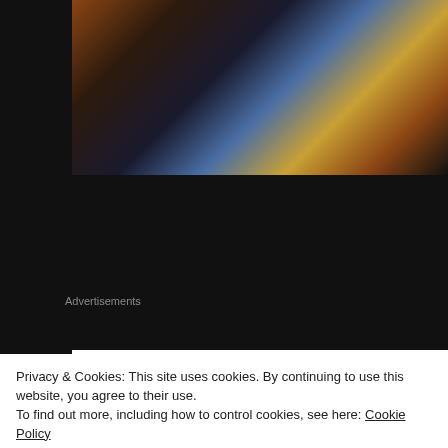[Figure (illustration): Dark painted comic book cover art showing a figure in dark tones with orange/rust and blue highlights against a dark background]
[Figure (logo): BOOM! Studios banner with logo on left and title 'SOMETHING IS KILLING THE CHILDREN #18' with subtitle 'Main Cover Art by Werther Dell'Edera' on right, white background]
Advertisements
[Figure (screenshot): WordPress.com advertisement banner with pink background, WordPress logo and text on left, 'Start Today' dark purple button on right]
Writer: James Tynion IV
Artist: Werther Dell'Edera
Privacy & Cookies: This site uses cookies. By continuing to use this website, you agree to their use.
To find out more, including how to control cookies, see here: Cookie Policy
Close and accept
“What secrets lie at the heart of the House of Slaughter?